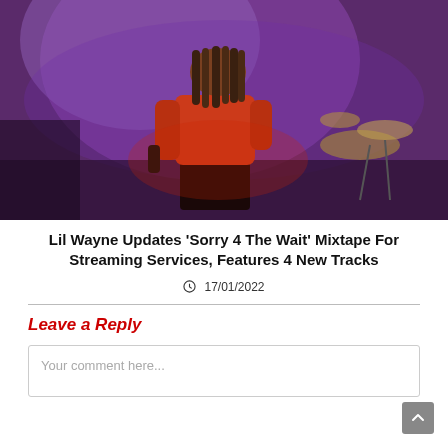[Figure (photo): A rapper with long dreadlocks performing on stage, holding a microphone, lit by purple and red stage lights, with a drum kit visible in the background.]
Lil Wayne Updates ‘Sorry 4 The Wait’ Mixtape For Streaming Services, Features 4 New Tracks
⏱ 17/01/2022
Leave a Reply
Your comment here...